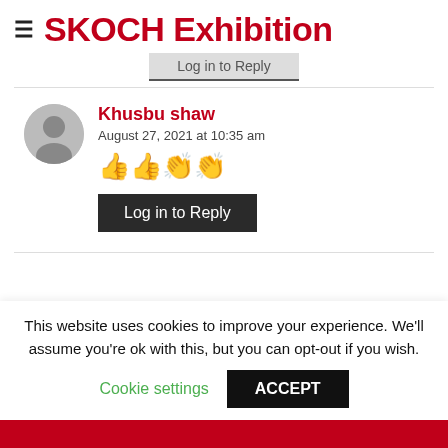SKOCH Exhibition
Log in to Reply
Khusbu shaw
August 27, 2021 at 10:35 am
👍👍👏👏
Log in to Reply
This website uses cookies to improve your experience. We'll assume you're ok with this, but you can opt-out if you wish.
Cookie settings  ACCEPT